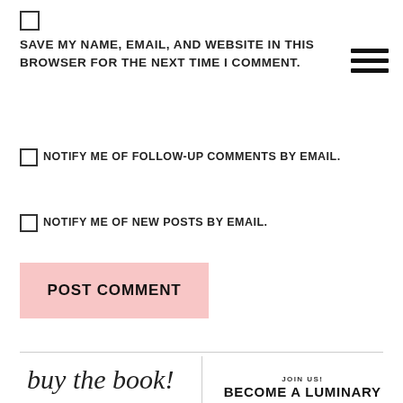SAVE MY NAME, EMAIL, AND WEBSITE IN THIS BROWSER FOR THE NEXT TIME I COMMENT.
NOTIFY ME OF FOLLOW-UP COMMENTS BY EMAIL.
NOTIFY ME OF NEW POSTS BY EMAIL.
POST COMMENT
buy the book!
JOIN US! BECOME A LUMINARY